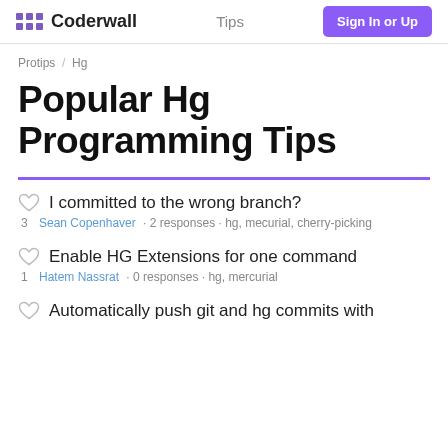Coderwall · Tips · Sign In or Up
Protips / Hg
Popular Hg Programming Tips
I committed to the wrong branch? — Sean Copenhaver · 2 responses · hg, mecurial, cherry-picking — 3 votes
Enable HG Extensions for one command — Hatem Nassrat · 0 responses · hg, mercurial — 1 vote
Automatically push git and hg commits with...